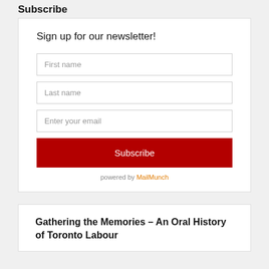Subscribe
Sign up for our newsletter!
First name
Last name
Enter your email
Subscribe
powered by MailMunch
Gathering the Memories – An Oral History of Toronto Labour